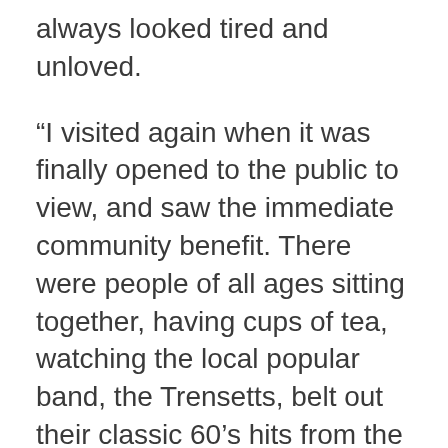always looked tired and unloved.
“I visited again when it was finally opened to the public to view, and saw the immediate community benefit. There were people of all ages sitting together, having cups of tea, watching the local popular band, the Trensetts, belt out their classic 60’s hits from the balcony, and commenting how wonderful the building now was and how long it had been since they had seen each other!
“Not being biased, but I think that the project (funded by the Community Asset Transfer